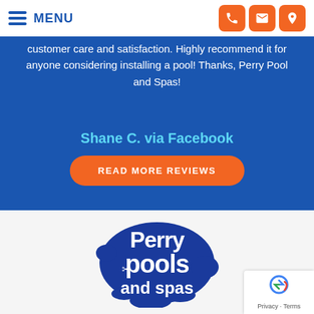MENU
customer care and satisfaction. Highly recommend it for anyone considering installing a pool! Thanks, Perry Pool and Spas!
Shane C. via Facebook
READ MORE REVIEWS
[Figure (logo): Perry Pools and Spas logo — blue blob shape with white text reading 'Perry pools and spas']
[Figure (other): reCAPTCHA badge with Privacy and Terms text]